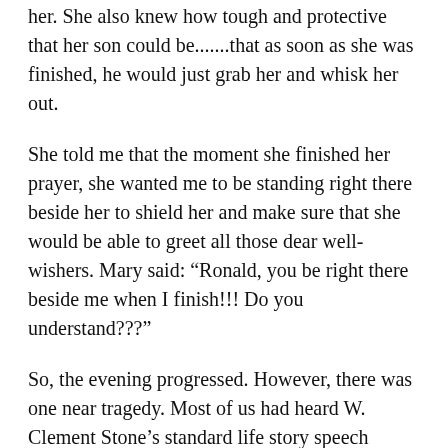her. She also knew how tough and protective that her son could be.......that as soon as she was finished, he would just grab her and whisk her out.
She told me that the moment she finished her prayer, she wanted me to be standing right there beside her to shield her and make sure that she would be able to greet all those dear well-wishers. Mary said: “Ronald, you be right there beside me when I finish!!! Do you understand???”
So, the evening progressed. However, there was one near tragedy. Most of us had heard W. Clement Stone’s standard life story speech several times. But now he was really “up in years”. When he got up there in front of that mike he was speaking again as he had done so many, many times. He just started into his standard speech. We all knew that it lasted nearly an hour. No